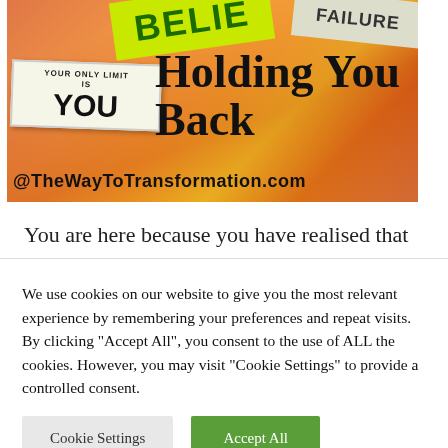[Figure (illustration): Hero image with colorful gradient background (orange, red, yellow tones) featuring motivational signs: a yellow-green ribbon reading 'BELIEVE', a sign reading 'FAILURE', a white card reading 'YOUR ONLY LIMIT IS YOU'. Large bold text overlay reads 'Holding You Back'. URL '@TheWayToTransformation.com' at the bottom.]
You are here because you have realised that
We use cookies on our website to give you the most relevant experience by remembering your preferences and repeat visits. By clicking "Accept All", you consent to the use of ALL the cookies. However, you may visit "Cookie Settings" to provide a controlled consent.